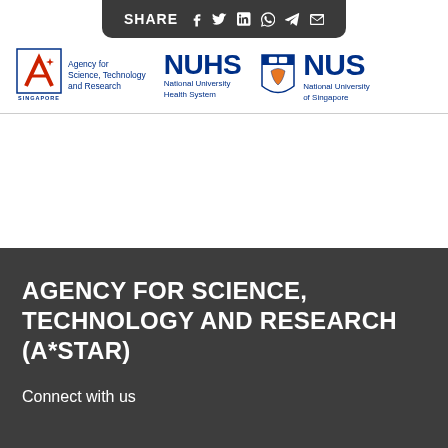SHARE
[Figure (logo): Agency for Science, Technology and Research (A*STAR) logo with stylized letter A in red and blue, with text 'Agency for Science, Technology and Research' and 'SINGAPORE' below]
[Figure (logo): NUHS - National University Health System logo in dark blue]
[Figure (logo): NUS - National University of Singapore logo with crest and text in dark blue]
AGENCY FOR SCIENCE, TECHNOLOGY AND RESEARCH (A*STAR)
Connect with us